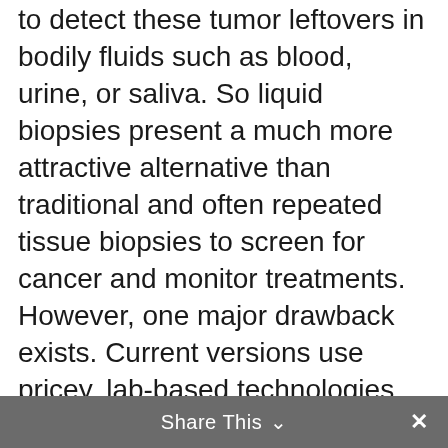to detect these tumor leftovers in bodily fluids such as blood, urine, or saliva. So liquid biopsies present a much more attractive alternative than traditional and often repeated tissue biopsies to screen for cancer and monitor treatments. However, one major drawback exists. Current versions use pricey, lab-based technologies such as DNA sequencing to detect cancer markers.
Fortunately, there may soon be a new liquid biopsy in town. The new tests detect epigenetic markers, rather than genetic mutations. They could prove to be less expensive, faster, and easier to
Share This ∨  ×